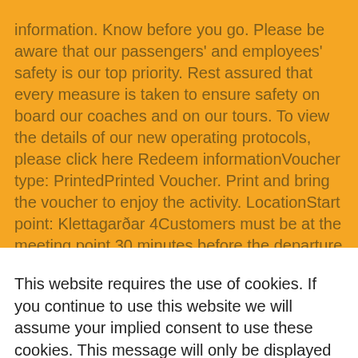information. Know before you go. Please be aware that our passengers' and employees' safety is our top priority. Rest assured that every measure is taken to ensure safety on board our coaches and on our tours. To view the details of our new operating protocols, please click here Redeem informationVoucher type: PrintedPrinted Voucher. Print and bring the voucher to enjoy the activity. LocationStart point: Klettagarðar 4Customers must be at the meeting point 30 minutes before the departure of the tour. If customers want to be picked up at the hotel (in Reykjavik only) they must call 24 hours before in order to reconfirm pick-up time. End point: Same as the starting pointScheduleDuration: 7 HoursGuide optionsGuide type: GuideGroup type: SharedRequirementsDue to
This website requires the use of cookies. If you continue to use this website we will assume your implied consent to use these cookies. This message will only be displayed once.